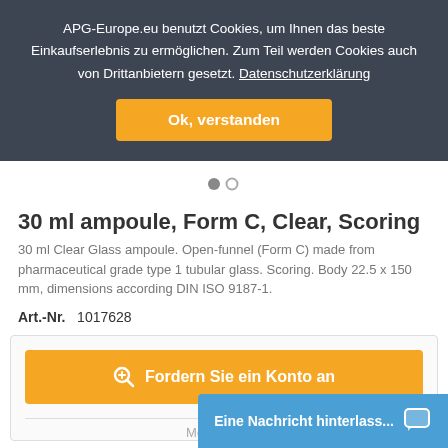APG-Europe.eu benutzt Cookies, um Ihnen das beste Einkaufserlebnis zu ermöglichen. Zum Teil werden Cookies auch von Drittanbietern gesetzt. Datenschutzerklärung
Ok, verstanden
[Figure (other): Slider pagination dots — one filled gray circle and one outlined circle]
30 ml ampoule, Form C, Clear, Scoring
30 ml Clear Glass ampoule. Open-funnel (Form C) made from pharmaceutical grade type 1 tubular glass. Scoring. Body 22.5 x 150 mm, dimensions according DIN ISO 9187-1.
Art.-Nr.   1017628
Fordern Sie ein Konto an
Melden Sie...
Eine Nachricht hinterlass...